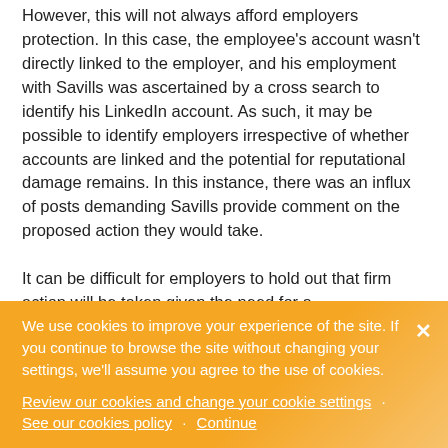However, this will not always afford employers protection. In this case, the employee's account wasn't directly linked to the employer, and his employment with Savills was ascertained by a cross search to identify his LinkedIn account. As such, it may be possible to identify employers irrespective of whether accounts are linked and the potential for reputational damage remains. In this instance, there was an influx of posts demanding Savills provide comment on the proposed action they would take.

It can be difficult for employers to hold out that firm action will be taken given the need for a
We use cookies to improve your experience of the site. If you continue to browse the site without changing your settings, we'll assume you agree to the use of cookies. Review our cookies and change your cookie settings · See our cookies policy · Continue